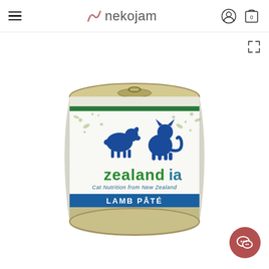nekojam
[Figure (photo): A can of Zealandia Lamb Pâté cat food. The can has a silver pull-tab lid, a white label with green botanical decorative patterns, blue illustrated lamb and cat graphics, the Zealandia brand name in green and blue, subtitle 'Cat Nutrition from New Zealand' in blue italic text, and a blue band at the bottom reading 'LAMB PÂTÉ' in white text.]